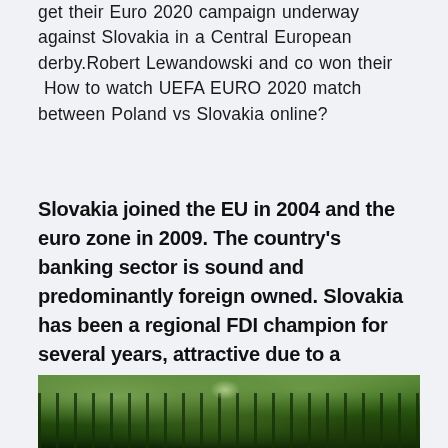get their Euro 2020 campaign underway against Slovakia in a Central European derby.Robert Lewandowski and co won their  How to watch UEFA EURO 2020 match between Poland vs Slovakia online?
Slovakia joined the EU in 2004 and the euro zone in 2009. The country's banking sector is sound and predominantly foreign owned. Slovakia has been a regional FDI champion for several years, attractive due to a relatively low-cost yet skilled labor force, and a favorable geographic location in the heart of Central Europe.
[Figure (photo): A forest or wooded area with trees and green foliage, partially cropped at the bottom of the page.]